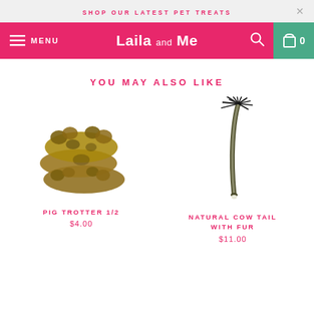SHOP OUR LATEST PET TREATS
[Figure (screenshot): Laila and Me navigation bar with hamburger menu, logo, search icon, and cart icon (0 items) on pink background]
YOU MAY ALSO LIKE
[Figure (photo): Pig Trotter 1/2 - dried/dehydrated pig trotters stacked on white background]
PIG TROTTER 1/2
$4.00
[Figure (photo): Natural Cow Tail with Fur - a single dried cow tail with black fur on white background]
NATURAL COW TAIL WITH FUR
$11.00